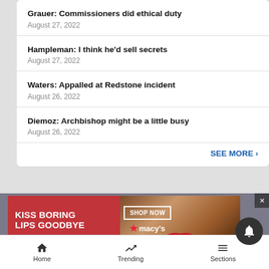Grauer: Commissioners did ethical duty
August 27, 2022
Hampleman: I think he'd sell secrets
August 27, 2022
Waters: Appalled at Redstone incident
August 26, 2022
Diemoz: Archbishop might be a little busy
August 26, 2022
SEE MORE ›
[Figure (screenshot): Macy's advertisement banner: 'KISS BORING LIPS GOODBYE' with SHOP NOW button and Macy's star logo, showing a woman's face with red lips]
Home   Trending   Sections